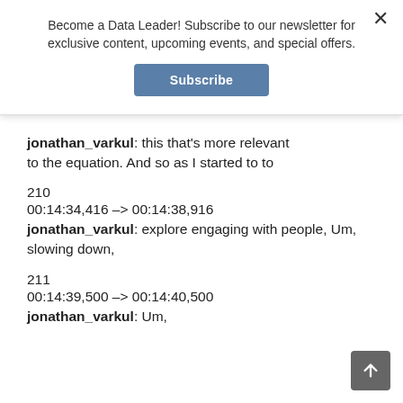Become a Data Leader! Subscribe to our newsletter for exclusive content, upcoming events, and special offers.
Subscribe
jonathan_varkul: this that's more relevant to the equation. And so as I started to to
210
00:14:34,416 --> 00:14:38,916
jonathan_varkul: explore engaging with people, Um, slowing down,
211
00:14:39,500 --> 00:14:40,500
jonathan_varkul: Um,